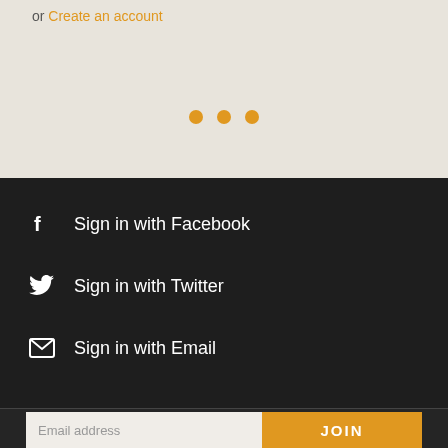or Create an account
[Figure (other): Three orange dots indicating a slideshow or pagination indicator]
Sign in with Facebook
Sign in with Twitter
Sign in with Email
Email address
JOIN